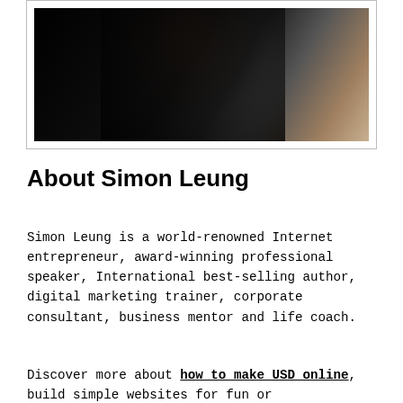[Figure (photo): A photo of Simon Leung, mostly dark background with a person in dark clothing, partial light background on the right side]
About Simon Leung
Simon Leung is a world-renowned Internet entrepreneur, award-winning professional speaker, International best-selling author, digital marketing trainer, corporate consultant, business mentor and life coach.
Discover more about how to make USD online, build simple websites for fun or